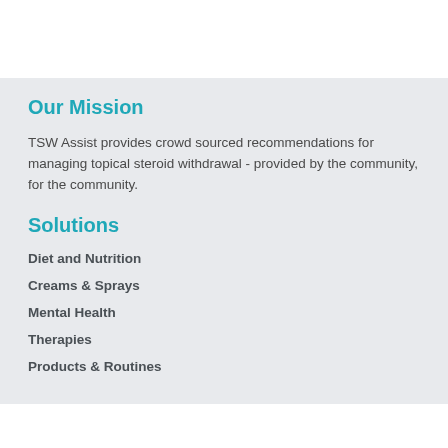Our Mission
TSW Assist provides crowd sourced recommendations for managing topical steroid withdrawal - provided by the community, for the community.
Solutions
Diet and Nutrition
Creams & Sprays
Mental Health
Therapies
Products & Routines